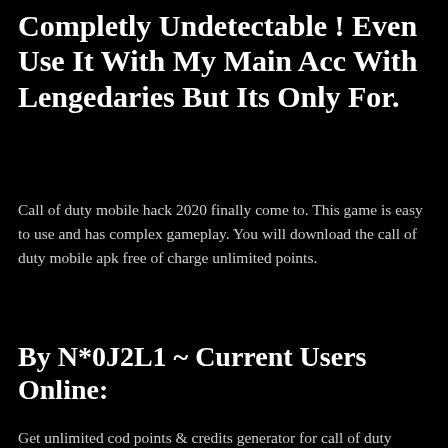Completly Undetectable ! Even Use It With My Main Acc With Lengedaries But Its Only For.
Call of duty mobile hack 2020 finally come to. This game is easy to use and has complex gameplay. You will download the call of duty mobile apk free of charge unlimited points.
By N*0J2L1 ~ Current Users Online:
Get unlimited cod points & credits generator for call of duty mobile! This is the solitary working cheats motor and hacking script for call of duty versatile up until now. This is actually the main working cheats motor and